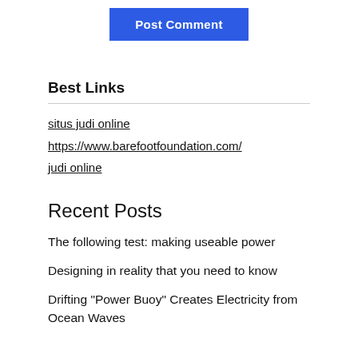Post Comment
Best Links
situs judi online
https://www.barefootfoundation.com/
judi online
Recent Posts
The following test: making useable power
Designing in reality that you need to know
Drifting "Power Buoy" Creates Electricity from Ocean Waves